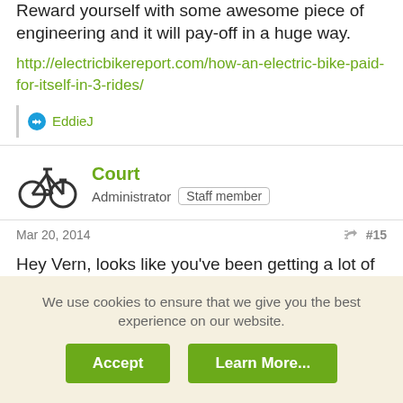Reward yourself with some awesome piece of engineering and it will pay-off in a huge way.
http://electricbikereport.com/how-an-electric-bike-paid-for-itself-in-3-rides/
EddieJ
Court
Administrator  Staff member
Mar 20, 2014  #15
Hey Vern, looks like you've been getting a lot of support and encouragement about the Carbon and I wanted to add my support as well. The extra research you did to find the right bike and the extra money you paid will definitely be worth it
We use cookies to ensure that we give you the best experience on our website.